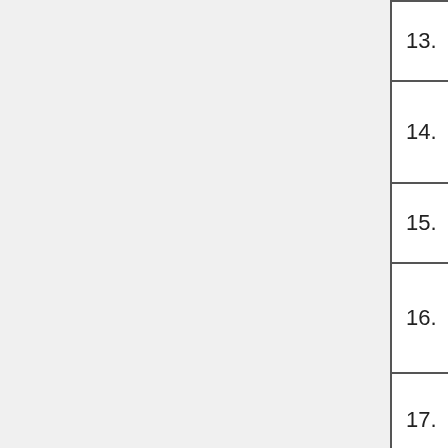| # | Name | Email/URL |
| --- | --- | --- |
| 13. | Sarah Crenshaw | sarahgrace@... |
| 14. | Suheilama Mouammar | suheilama@e... |
| 15. | Felipe Chavez Munita | hathayogaest... |
| 16. | Gabriela Sequeira | asiesgabriela@... |
| 17. | Elise Lee | eliselee@ucla... |
| 18. | Jocelyn Kay Lee | jkl@jocelynka... https://www.jo... |
| 19. | Julia Tulsi Bagnoli | tulsibagnoli@... https://www.tu... |
| 20. | Debbie Mills | debbie@yoga... http://www.yo... |